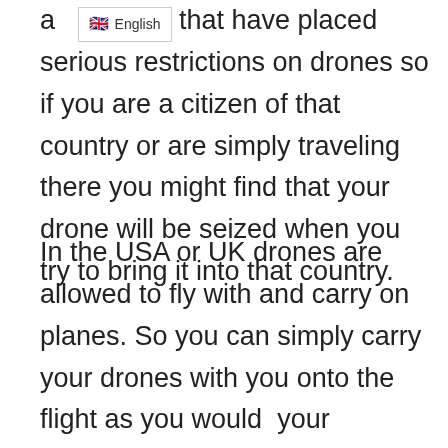an [translation bar: English] that have placed serious restrictions on drones so if you are a citizen of that country or are simply traveling there you might find that your drone will be seized when you try to bring it into that country.
In the USA or UK drones are allowed to fly with and carry on planes. So you can simply carry your drones with you onto the flight as you would  your smartphone